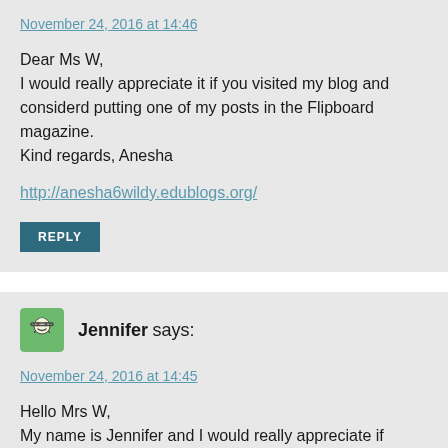November 24, 2016 at 14:46
Dear Ms W,
I would really appreciate it if you visited my blog and considerd putting one of my posts in the Flipboard magazine.
Kind regards, Anesha
http://anesha6wildy.edublogs.org/
REPLY
Jennifer says:
November 24, 2016 at 14:45
Hello Mrs W,
My name is Jennifer and I would really appreciate if